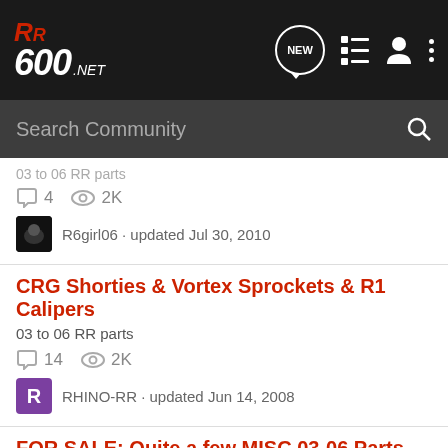RR600.NET - Search Community
03 to 06 RR parts
4 replies · 2K views
R6girl06 · updated Jul 30, 2010
CRG Shorties & Vortex Sprockets & R1 Calipers
03 to 06 RR parts
14 replies · 2K views
RHINO-RR · updated Jun 14, 2008
FOR SALE: Quite a few MISC 03-06 Parts
03 to 06
2 replies